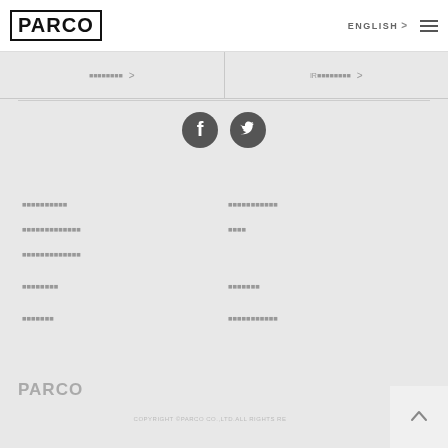PARCO | ENGLISH > ☰
■■■■■■■■ >
IR■■■■■■■■ >
[Figure (logo): Facebook icon (dark circle)]
[Figure (logo): Twitter icon (dark circle)]
■■■■■■■■■■
■■■■■■■■■■■
■■■■■■■■■■■■■
■■■■■■■■■■■■■
■■■■■■■■
■■■■■■■
■■■■■■■
■■■■■■■■■■■
PARCO | COPYRIGHT ©PARCO CO.,LTD.ALL RIGHTS RESERVED